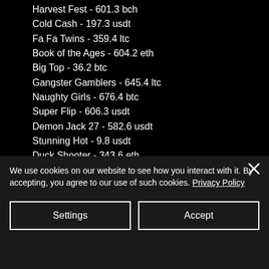Harvest Fest - 601.3 bch
Cold Cash - 197.3 usdt
Fa Fa Twins - 359.4 ltc
Book of the Ages - 604.2 eth
Big Top - 36.2 btc
Gangster Gamblers - 645.4 ltc
Naughty Girls - 676.4 btc
Super Flip - 606.3 usdt
Demon Jack 27 - 582.6 usdt
Stunning Hot - 9.8 usdt
Duck Shooter - 343.6 eth
The Great Conflict - 725.1 usdt
Bell of Fortune - 591.1 ltc
We use cookies on our website to see how you interact with it. By accepting, you agree to our use of such cookies. Privacy Policy
Settings
Accept